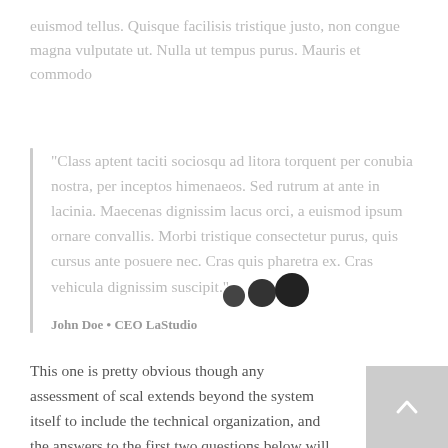euismod tellus. Quisque facilisis tristique justo, non congue magna vulputate ut. Nulla ut tempus purus. Mauris et commodo
“Class aptent taciti sociosqu ad litora torquent per conubia nostra, per inceptos himenaeos. Sed rutrum at ante in lacinia. Maecenas dignissim lacus orci, a euismod ipsum ornare convallis. Morbi tristique consectetur purus, quis cursus ante posuere nec. Cras quis pharetra ex. Cras vehicula dignissim suscipit.”
John Doe • CEO LaStudio
[Figure (illustration): Three dark overlapping circles of increasing size, decorative dots overlay]
This one is pretty obvious though any assessment of scal extends beyond the system itself to include the technical organization, and the answers to the first two questions below will indicate how the respondent thinks about scalability, not just from a